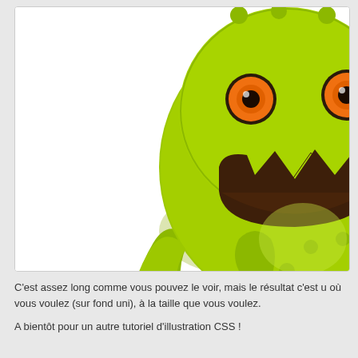[Figure (illustration): A green cartoon monster/dinosaur character with orange eyes, jagged mouth showing dark interior, small arms with white claws, round body with bumps, partially cropped — upper right portion visible against a white background in a bordered box.]
C'est assez long comme vous pouvez le voir, mais le résultat c'est u où vous voulez (sur fond uni), à la taille que vous voulez.
A bientôt pour un autre tutoriel d'illustration CSS !